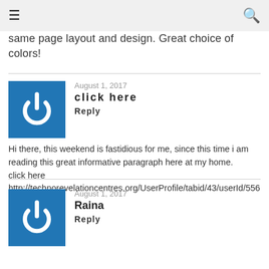≡  🔍
same page layout and design. Great choice of colors!
August 1, 2017
click here
Reply

Hi there, this weekend is fastidious for me, since this time i am reading this great informative paragraph here at my home.
click here
http://technorevelationcentres.org/UserProfile/tabid/43/userId/556
August 1, 2017
Raina
Reply